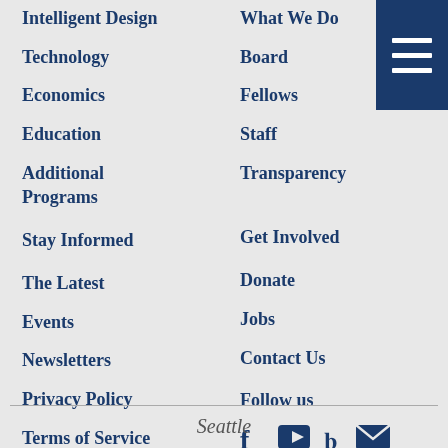[Figure (other): Dark blue hamburger menu icon (three horizontal white bars on navy background) in top-right corner]
Intelligent Design
Technology
Economics
Education
Additional Programs
Stay Informed
The Latest
Events
Newsletters
Privacy Policy
Terms of Service
What We Do
Board
Fellows
Staff
Transparency
Get Involved
Donate
Jobs
Contact Us
Follow us
[Figure (other): Social media icons: Facebook (f), YouTube (play button), Twitter (bird), Email (envelope)]
Seattle